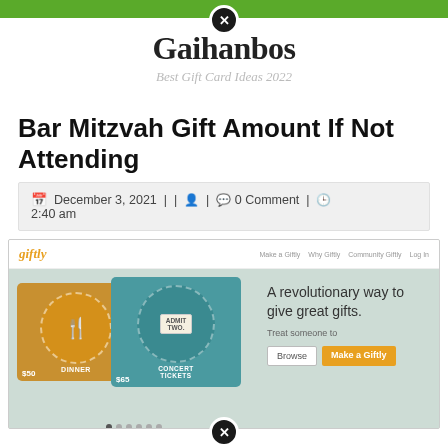Gaihanbos — Best Gift Card Ideas 2022
Bar Mitzvah Gift Amount If Not Attending
December 3, 2021 || | 0 Comment | 2:40 am
[Figure (screenshot): Screenshot of the Giftly website showing gift cards for Dinner ($50) and Concert Tickets ($65) with tagline 'A revolutionary way to give great gifts.' and buttons Browse and Make a Giftly]